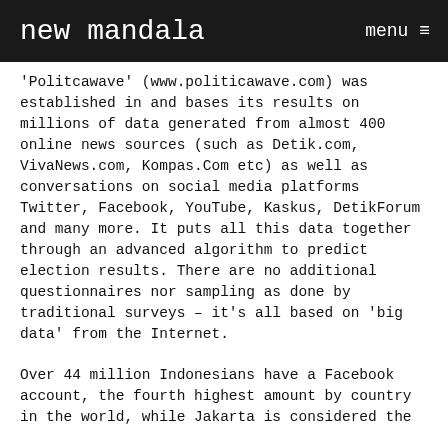new mandala   menu ≡
'Politcawave' (www.politicawave.com) was established in and bases its results on millions of data generated from almost 400 online news sources (such as Detik.com, VivaNews.com, Kompas.Com etc) as well as conversations on social media platforms Twitter, Facebook, YouTube, Kaskus, DetikForum and many more. It puts all this data together through an advanced algorithm to predict election results. There are no additional questionnaires nor sampling as done by traditional surveys – it's all based on 'big data' from the Internet.
Over 44 million Indonesians have a Facebook account, the fourth highest amount by country in the world, while Jakarta is considered the